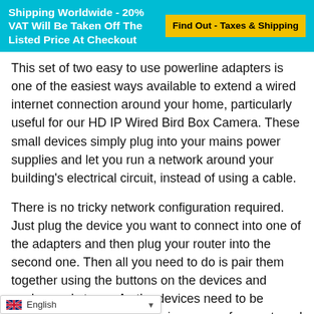Shipping Worldwide - 20% VAT Will Be Taken Off The Listed Price At Checkout | Find Out - Taxes & Shipping
This set of two easy to use powerline adapters is one of the easiest ways available to extend a wired internet connection around your home, particularly useful for our HD IP Wired Bird Box Camera. These small devices simply plug into your mains power supplies and let you run a network around your building's electrical circuit, instead of using a cable.
There is no tricky network configuration required. Just plug the device you want to connect into one of the adapters and then plug your router into the second one. Then all you need to do is pair them together using the buttons on the devices and you're ready to go. As the devices need to be paired, the connection remains secure from external devices. This kit also features pass-through power so you still ha… use even when the device is